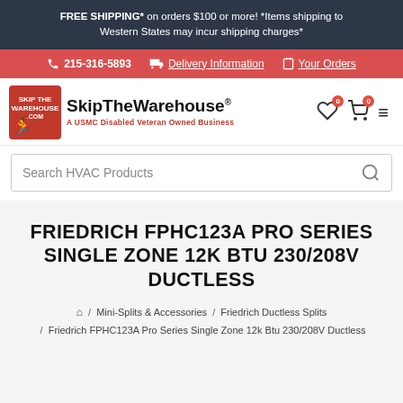FREE SHIPPING* on orders $100 or more! *Items shipping to Western States may incur shipping charges*
215-316-5893  Delivery Information  Your Orders
[Figure (logo): SkipTheWarehouse logo - A USMC Disabled Veteran Owned Business]
Search HVAC Products
FRIEDRICH FPHC123A PRO SERIES SINGLE ZONE 12K BTU 230/208V DUCTLESS
/ Mini-Splits & Accessories / Friedrich Ductless Splits / Friedrich FPHC123A Pro Series Single Zone 12k Btu 230/208V Ductless